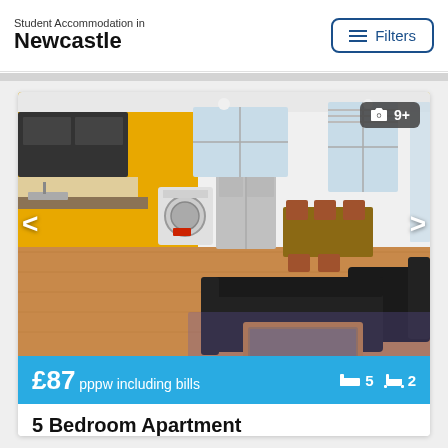Student Accommodation in
Newcastle
[Figure (screenshot): Filters button with horizontal lines icon, blue border]
[Figure (photo): Interior photo of a 5-bedroom apartment showing open-plan kitchen and living room with yellow walls, dark cabinets, washing machine, fridge, dining table, and black leather sofas on wooden floor. Photo badge showing camera icon and '9+']
£87 pppw including bills
5 bedrooms, 2 bathrooms
5 Bedroom Apartment